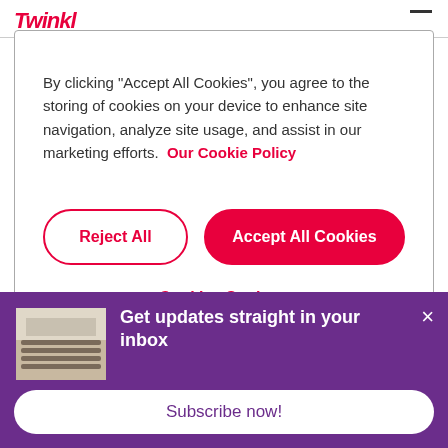By clicking "Accept All Cookies", you agree to the storing of cookies on your device to enhance site navigation, analyze site usage, and assist in our marketing efforts.  Our Cookie Policy
Reject All
Accept All Cookies
Cookies Settings
Get updates straight in your inbox
Subscribe now!